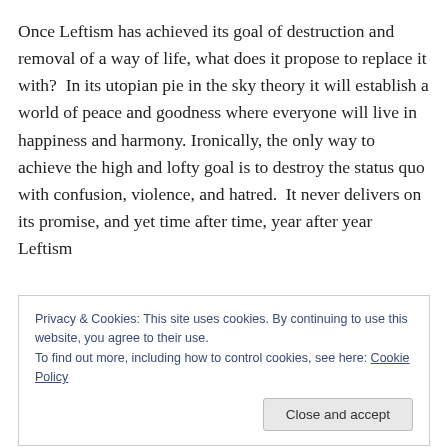Once Leftism has achieved its goal of destruction and removal of a way of life, what does it propose to replace it with?  In its utopian pie in the sky theory it will establish a world of peace and goodness where everyone will live in happiness and harmony. Ironically, the only way to achieve the high and lofty goal is to destroy the status quo with confusion, violence, and hatred.  It never delivers on its promise, and yet time after time, year after year Leftism
Privacy & Cookies: This site uses cookies. By continuing to use this website, you agree to their use.
To find out more, including how to control cookies, see here: Cookie Policy
Close and accept
to the detriment of both them and all the people that